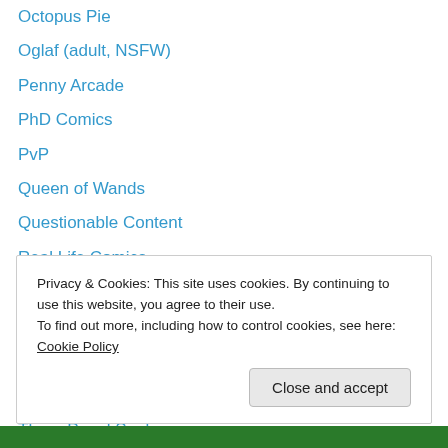Octopus Pie
Oglaf (adult, NSFW)
Penny Arcade
PhD Comics
PvP
Queen of Wands
Questionable Content
Real Life Comics
Red String
Scary Go Round
Sinfest
Something Positive
Three Panel Soul
xkcd
Privacy & Cookies: This site uses cookies. By continuing to use this website, you agree to their use.
To find out more, including how to control cookies, see here: Cookie Policy